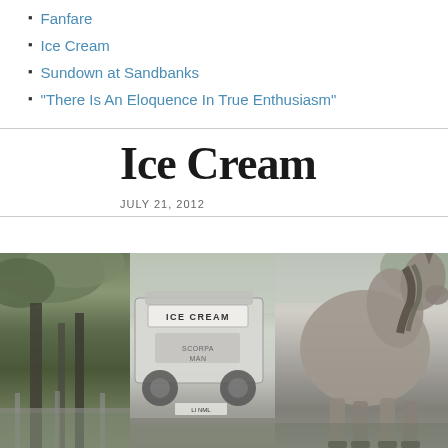Fanfare
Ice Cream
Sundown at Sandbanks
“There Is An Eloquence In True Enthusiasm”
Ice Cream
JULY 21, 2012
[Figure (photo): Black and white photograph showing a horse in the foreground on the right side and an ice cream van with 'ICE CREAM' sign in the background center-left, with trees visible on the left.]